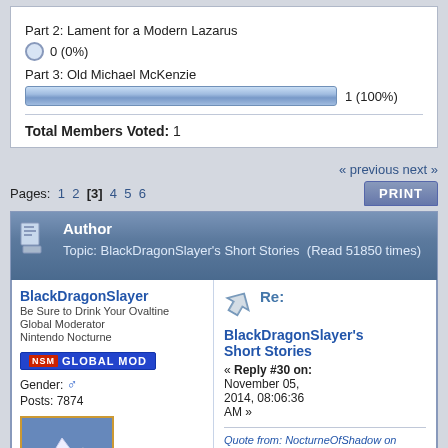Part 2: Lament for a Modern Lazarus
0 (0%)
Part 3: Old Michael McKenzie
1 (100%)
Total Members Voted: 1
« previous next »
Pages: 1 2 [3] 4 5 6
PRINT
Author
Topic: BlackDragonSlayer's Short Stories  (Read 51850 times)
BlackDragonSlayer
Be Sure to Drink Your Ovaltine
Global Moderator
Nintendo Nocturne
Global Mod
Gender: ♂
Posts: 7874
Re:
BlackDragonSlayer's Short Stories
« Reply #30 on: November 05, 2014, 08:06:36 AM »
Quote from: NocturneOfShadow on November 03, 2014, 05:23:49 PM